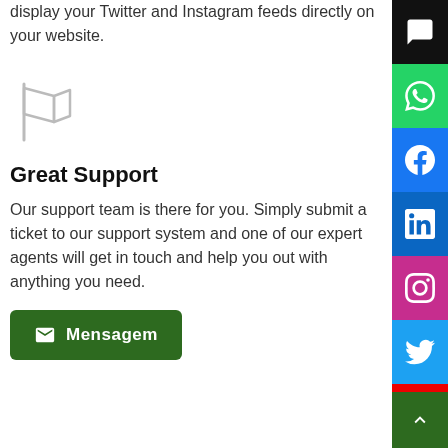display your Twitter and Instagram feeds directly on your website.
[Figure (illustration): Flag icon outline in light gray]
Great Support
Our support team is there for you. Simply submit a ticket to our support system and one of our expert agents will get in touch and help you out with anything you need.
[Figure (infographic): Social media sidebar with icons: chat, WhatsApp, Facebook, LinkedIn, Instagram, Twitter, YouTube, and a scroll-to-top green button]
[Figure (other): Green Mensagem button with envelope icon]